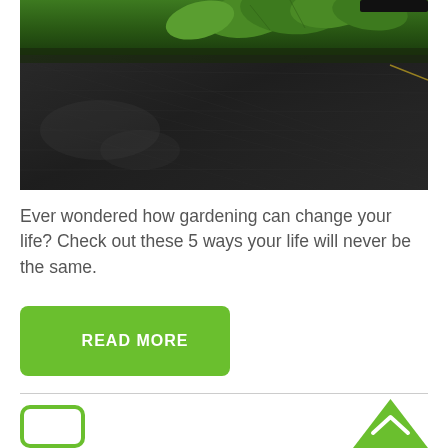[Figure (photo): Close-up photograph of black weed barrier fabric/landscape cloth covering garden soil with green leafy plants visible in the upper portion]
Ever wondered how gardening can change your life? Check out these 5 ways your life will never be the same.
READ MORE